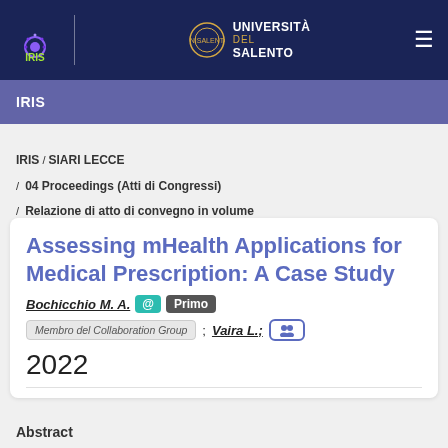[Figure (logo): IRIS logo with eye/brain graphic and Università del Salento logo in top navigation bar]
IRIS
IRIS / SIARI LECCE / 04 Proceedings (Atti di Congressi) / Relazione di atto di convegno in volume
Assessing mHealth Applications for Medical Prescription: A Case Study
Bochicchio M. A. @ Primo
Membro del Collaboration Group ; Vaira L.;
2022
Abstract